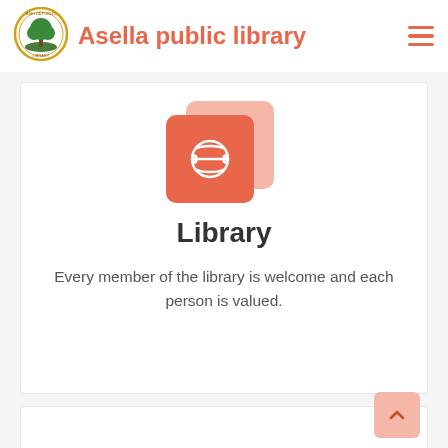Asella public library
[Figure (logo): Asella Public Library circular logo with tree illustration]
[Figure (illustration): Stacked card icon with basketball/dribbble symbol on salmon/coral background]
Library
Every member of the library is welcome and each person is valued.